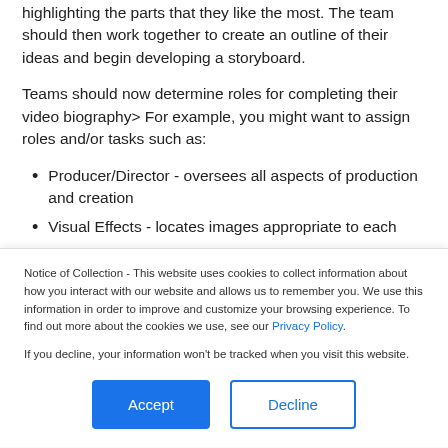highlighting the parts that they like the most. The team should then work together to create an outline of their ideas and begin developing a storyboard.
Teams should now determine roles for completing their video biography> For example, you might want to assign roles and/or tasks such as:
Producer/Director - oversees all aspects of production and creation
Visual Effects - locates images appropriate to each
Notice of Collection - This website uses cookies to collect information about how you interact with our website and allows us to remember you. We use this information in order to improve and customize your browsing experience. To find out more about the cookies we use, see our Privacy Policy.
If you decline, your information won't be tracked when you visit this website.